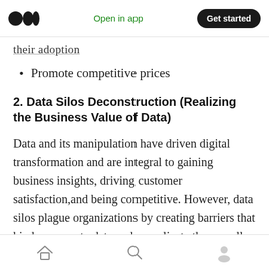Open in app | Get started
their adoption
Promote competitive prices
2. Data Silos Deconstruction (Realizing the Business Value of Data)
Data and its manipulation have driven digital transformation and are integral to gaining business insights, driving customer satisfaction,and being competitive. However, data silos plague organizations by creating barriers that hinder access to data and complicate the overall efficiency of an organization. Developing a hybrid IT
Home | Search | Profile